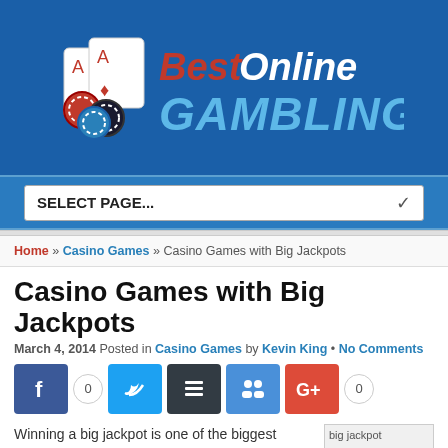[Figure (logo): BestOnline GAMBLING logo with playing cards and casino chips on blue background]
SELECT PAGE...
Home » Casino Games » Casino Games with Big Jackpots
Casino Games with Big Jackpots
March 4, 2014 Posted in Casino Games by Kevin King • No Comments
[Figure (infographic): Social sharing buttons: Facebook, Twitter, Buffer/Stack, social icon, Google+, with share counts 0 and 0]
Winning a big jackpot is one of the biggest draws of online gambling. It's nice to win a little money here and there playing poker or betting on sports, but
[Figure (photo): big jackpot image placeholder]